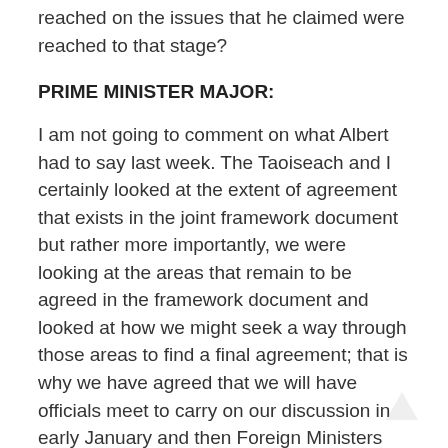reached on the issues that he claimed were reached to that stage?
PRIME MINISTER MAJOR:
I am not going to comment on what Albert had to say last week. The Taoiseach and I certainly looked at the extent of agreement that exists in the joint framework document but rather more importantly, we were looking at the areas that remain to be agreed in the framework document and looked at how we might seek a way through those areas to find a final agreement; that is why we have agreed that we will have officials meet to carry on our discussion in early January and then Foreign Ministers thereafter.
QUESTION: